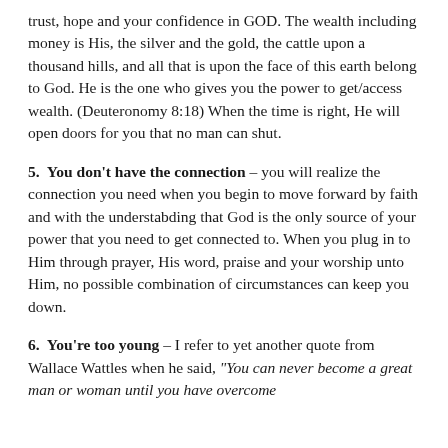trust, hope and your confidence in GOD. The wealth including money is His, the silver and the gold, the cattle upon a thousand hills, and all that is upon the face of this earth belong to God. He is the one who gives you the power to get/access wealth. (Deuteronomy 8:18) When the time is right, He will open doors for you that no man can shut.
5. You don't have the connection – you will realize the connection you need when you begin to move forward by faith and with the understabding that God is the only source of your power that you need to get connected to. When you plug in to Him through prayer, His word, praise and your worship unto Him, no possible combination of circumstances can keep you down.
6. You're too young – I refer to yet another quote from Wallace Wattles when he said, "You can never become a great man or woman until you have overcome